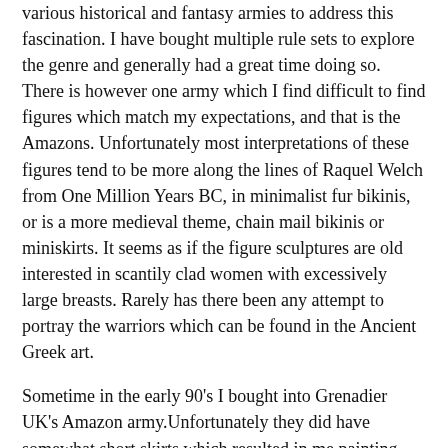various historical and fantasy armies to address this fascination. I have bought multiple rule sets to explore the genre and generally had a great time doing so. There is however one army which I find difficult to find figures which match my expectations, and that is the Amazons. Unfortunately most interpretations of these figures tend to be more along the lines of Raquel Welch from One Million Years BC, in minimalist fur bikinis, or is a more medieval theme, chain mail bikinis or miniskirts. It seems as if the figure sculptures are old interested in scantily clad women with excessively large breasts. Rarely has there been any attempt to portray the warriors which can be found in the Ancient Greek art.
Sometime in the early 90's I bought into Grenadier UK's Amazon army.Unfortunately they did have somewhat short skirts which resulted in me painting leggings onto the archers. These figures were more of a pseudo medieval fantasy range, and despite theme having big cat riders and chariots pulled by giant cats, these weren't the answer I was looking for.